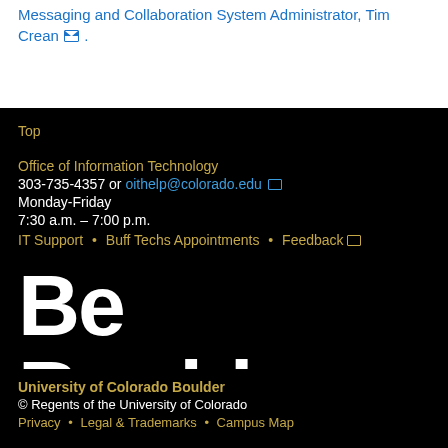Messaging and Collaboration System Administrator, Tim Crean ✉ .
Top
Office of Information Technology
303-735-4357 or oithelp@colorado.edu ✉
Monday-Friday
7:30 a.m. – 7:00 p.m.
IT Support • Buff Techs Appointments • Feedback ✉
[Figure (other): Be Boulder. logo text in large bold white letters on black background]
University of Colorado Boulder
© Regents of the University of Colorado
Privacy • Legal & Trademarks • Campus Map